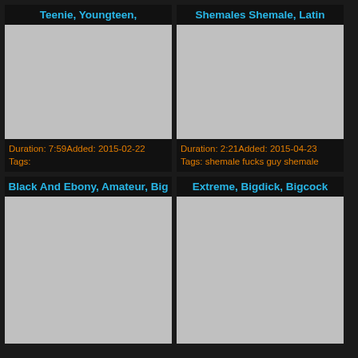Teenie, Youngteen,
[Figure (photo): Video thumbnail placeholder - grey rectangle]
Duration: 7:59Added: 2015-02-22
Tags:
Shemales Shemale, Latin
[Figure (photo): Video thumbnail placeholder - grey rectangle]
Duration: 2:21Added: 2015-04-23
Tags: shemale fucks guy shemale
Black And Ebony, Amateur, Big
[Figure (photo): Video thumbnail placeholder - grey rectangle]
Extreme, Bigdick, Bigcock
[Figure (photo): Video thumbnail placeholder - grey rectangle]